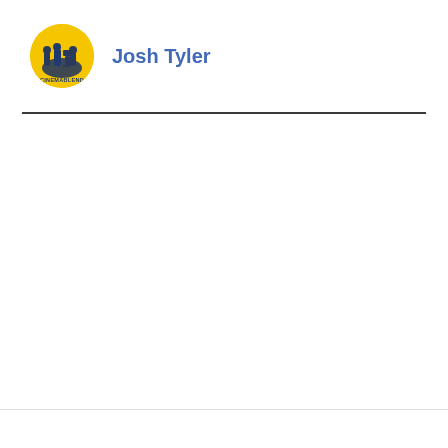[Figure (logo): CinemaBlend circular logo with yellow background showing silhouettes of film crew/people with camera equipment, with 'CINEMABLEND' text visible]
Josh Tyler